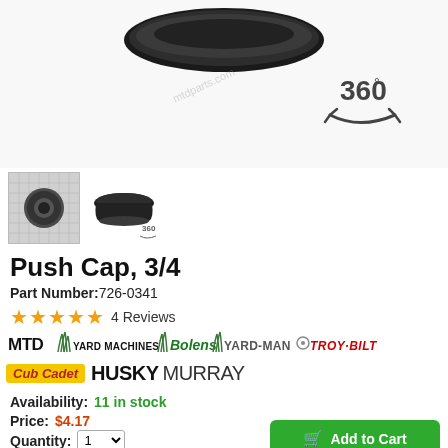[Figure (photo): Main product image of black push cap, 3/4 inch, shown on white background with 360-degree view icon]
[Figure (photo): Thumbnail 1: push cap shown on grid background]
[Figure (photo): Thumbnail 2: push cap 3D view with 360 icon]
Push Cap, 3/4
Part Number:726-0341
★★★★★ 4 Reviews
[Figure (logo): Brand logos: MTD, Yard Machines, Bolens, Yard-Man, Troy-Bilt, Cub Cadet, Husky, Murray]
Availability:  11 in stock
Price: $4.17
Quantity: 1
Add to Cart